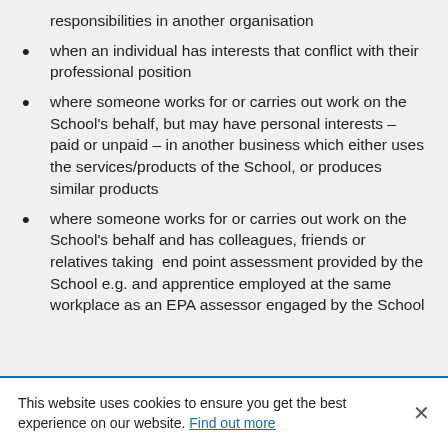responsibilities in another organisation
when an individual has interests that conflict with their professional position
where someone works for or carries out work on the School's behalf, but may have personal interests – paid or unpaid – in another business which either uses the services/products of the School, or produces similar products
where someone works for or carries out work on the School's behalf and has colleagues, friends or relatives taking  end point assessment provided by the School e.g. and apprentice employed at the same workplace as an EPA assessor engaged by the School
This website uses cookies to ensure you get the best experience on our website. Find out more